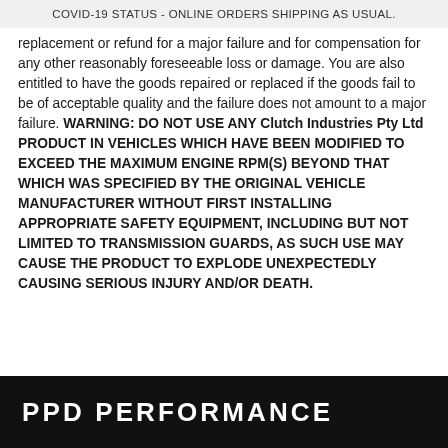COVID-19 STATUS - ONLINE ORDERS SHIPPING AS USUAL.
replacement or refund for a major failure and for compensation for any other reasonably foreseeable loss or damage. You are also entitled to have the goods repaired or replaced if the goods fail to be of acceptable quality and the failure does not amount to a major failure. WARNING: DO NOT USE ANY Clutch Industries Pty Ltd PRODUCT IN VEHICLES WHICH HAVE BEEN MODIFIED TO EXCEED THE MAXIMUM ENGINE RPM(S) BEYOND THAT WHICH WAS SPECIFIED BY THE ORIGINAL VEHICLE MANUFACTURER WITHOUT FIRST INSTALLING APPROPRIATE SAFETY EQUIPMENT, INCLUDING BUT NOT LIMITED TO TRANSMISSION GUARDS, AS SUCH USE MAY CAUSE THE PRODUCT TO EXPLODE UNEXPECTEDLY CAUSING SERIOUS INJURY AND/OR DEATH.
PPD PERFORMANCE